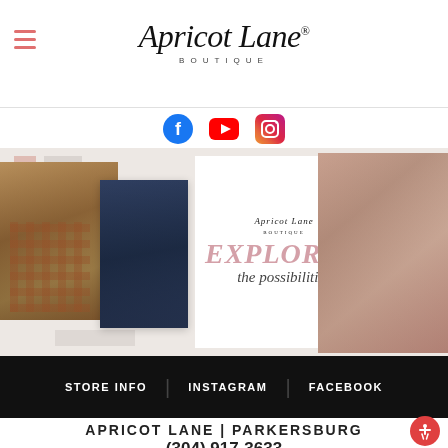[Figure (logo): Apricot Lane Boutique logo with hamburger menu icon on the left]
[Figure (infographic): Social media icons row: Facebook (blue circle), YouTube (red), Instagram (gradient)]
[Figure (photo): Fashion boutique banner with collage of women in stylish clothing. Center shows Apricot Lane logo with 'EXPLORE the possibilities' text in pink and cursive.]
STORE INFO   INSTAGRAM   FACEBOOK
APRICOT LANE | PARKERSBURG
(304) 917-3633
NOW OPEN in Downtown Parkersburg!